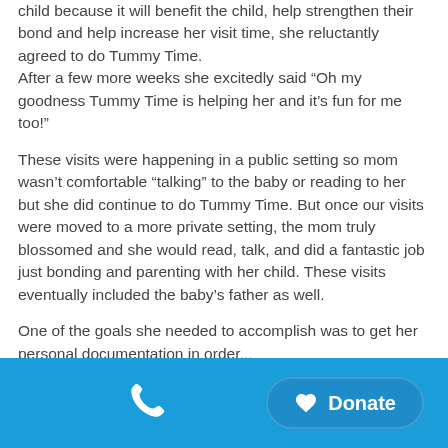child because it will benefit the child, help strengthen their bond and help increase her visit time, she reluctantly agreed to do Tummy Time.
After a few more weeks she excitedly said “Oh my goodness Tummy Time is helping her and it’s fun for me too!”
These visits were happening in a public setting so mom wasn’t comfortable “talking” to the baby or reading to her but she did continue to do Tummy Time. But once our visits were moved to a more private setting, the mom truly blossomed and she would read, talk, and did a fantastic job just bonding and parenting with her child. These visits eventually included the baby’s father as well.
One of the goals she needed to accomplish was to get her personal documentation in order...